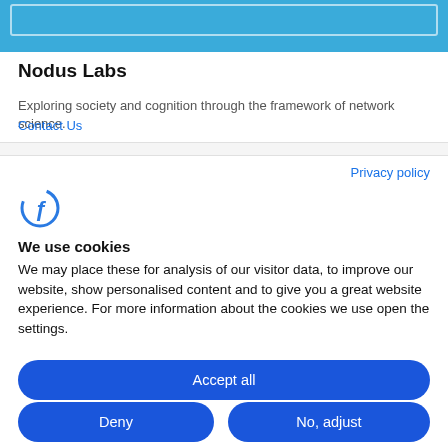[Figure (screenshot): Blue header bar with a white rounded rectangle border element inside]
Nodus Labs
Exploring society and cognition through the framework of network science.
Contact Us
Privacy policy
[Figure (logo): Nodus Labs logo: stylized blue letter F with circular arc]
We use cookies
We may place these for analysis of our visitor data, to improve our website, show personalised content and to give you a great website experience. For more information about the cookies we use open the settings.
Accept all
Deny
No, adjust